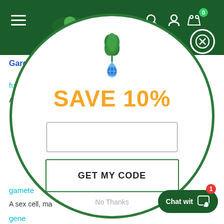[Figure (screenshot): Website header with green navigation bar, hamburger menu, logo, search icon, user icon, cart icon with badge showing 0]
Gardening
fusa
An... ly
gamete
A sex cell, ma...
gene
[Figure (infographic): Circular modal popup with green border containing a plant/water drop logo, SAVE 10% text in yellow/orange, email input field, GET MY CODE button, and No Thanks link]
No Thanks